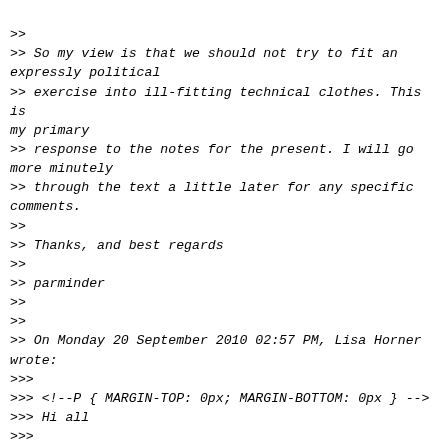>>
>> So my view is that we should not try to fit an expressly political
>> exercise into ill-fitting technical clothes. This is my primary
>> response to the notes for the present. I will go more minutely
>> through the text a little later for any specific comments.
>>
>> Thanks, and best regards
>>
>> parminder
>>
>>
>> On Monday 20 September 2010 02:57 PM, Lisa Horner wrote:
>>>
>>> <!--P { MARGIN-TOP: 0px; MARGIN-BOTTOM: 0px } -->
>>> Hi all
>>>
>>> Thanks to everyone for a great IGF....both those of you who were
>>> there in person, and those who were participating and tweeting from
>>> afar.  The Charter went down really well, and I think we've
>>> successfully raised the profile of the coalition in the IGF.  So
>>> well done everybody!